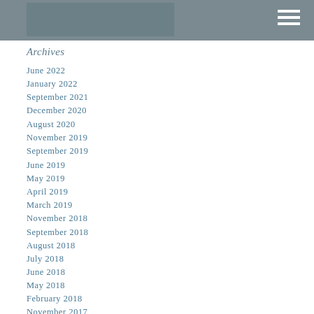Archives
June 2022
January 2022
September 2021
December 2020
August 2020
November 2019
September 2019
June 2019
May 2019
April 2019
March 2019
November 2018
September 2018
August 2018
July 2018
June 2018
May 2018
February 2018
November 2017
September 2017
August 2017
June 2017
May 2017
April 2017
February 2017